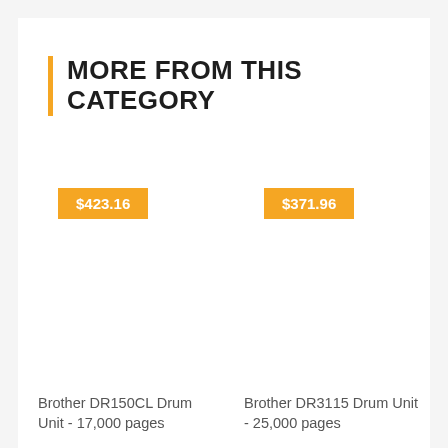MORE FROM THIS CATEGORY
$423.16
Brother DR150CL Drum Unit - 17,000 pages
$371.96
Brother DR3115 Drum Unit - 25,000 pages